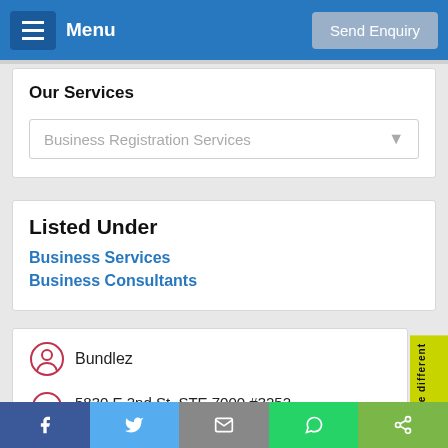Menu | Send Enquiry
Our Services
Business Registration Services
Listed Under
Business Services
Business Consultants
Bundlez
5830 E 2nd St, STE 7000 #3252, Casper, WY 82609
View On Map
Facebook | Twitter | Email | WhatsApp | Share